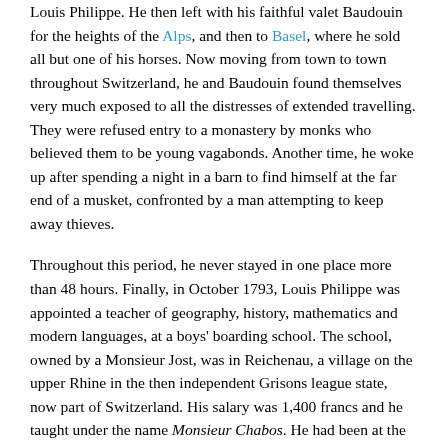Louis Philippe. He then left with his faithful valet Baudouin for the heights of the Alps, and then to Basel, where he sold all but one of his horses. Now moving from town to town throughout Switzerland, he and Baudouin found themselves very much exposed to all the distresses of extended travelling. They were refused entry to a monastery by monks who believed them to be young vagabonds. Another time, he woke up after spending a night in a barn to find himself at the far end of a musket, confronted by a man attempting to keep away thieves.
Throughout this period, he never stayed in one place more than 48 hours. Finally, in October 1793, Louis Philippe was appointed a teacher of geography, history, mathematics and modern languages, at a boys' boarding school. The school, owned by a Monsieur Jost, was in Reichenau, a village on the upper Rhine in the then independent Grisons league state, now part of Switzerland. His salary was 1,400 francs and he taught under the name Monsieur Chabos. He had been at the school for a month when he heard the news from Paris: